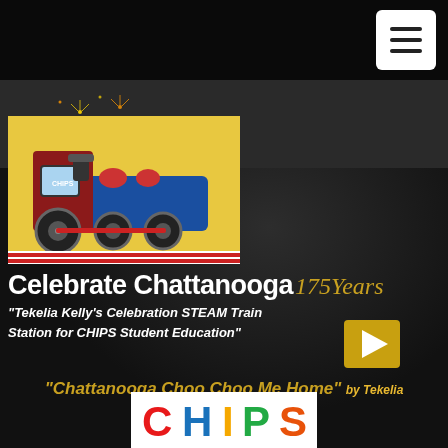[Figure (screenshot): Menu/hamburger icon button - white rounded rectangle with three horizontal lines]
[Figure (illustration): Colorful cartoon STEAM train locomotive illustration with fireworks in the background, on a yellow background]
Celebrate Chattanooga 175Years
"Tekelia Kelly's Celebration STEAM Train Station for CHIPS Student Education"
[Figure (other): Gold/yellow play button triangle pointing right]
"Chattanooga Choo Choo Me Home" by Tekelia Kelly
[Figure (logo): CHIPS logo - colorful letters C H I P S in red, blue, yellow, green, orange]